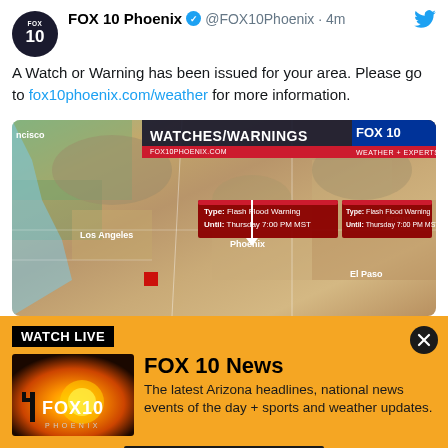FOX 10 Phoenix @FOX10Phoenix · 4m
A Watch or Warning has been issued for your area. Please go to fox10phoenix.com/weather for more information.
[Figure (map): Weather map showing WATCHES/WARNINGS overlay on southwestern United States (FOX10PHOENIX.COM, FOX 10 WEATHER + EXPERTS). Two red info boxes: Type: Flash Flood Warning, Until: Thursday 7:00 PM MST (repeated). Cities visible: Los Angeles, Phoenix, El Paso, Albuquerque. Satellite terrain map.]
WATCH LIVE
[Figure (logo): FOX 10 Phoenix logo on sunset background]
FOX 10 News
The latest Arizona headlines, national news events of the day + sports and weather updates.